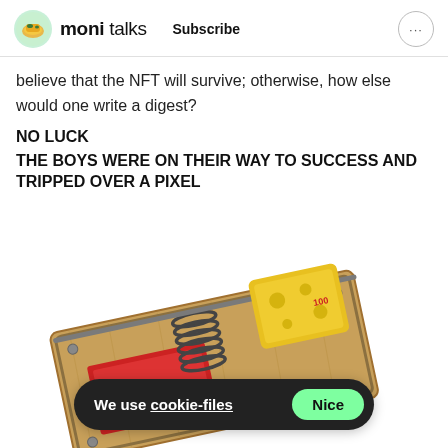moni talks  Subscribe
believe that the NFT will survive; otherwise, how else would one write a digest?
NO LUCK
THE BOYS WERE ON THEIR WAY TO SUCCESS AND TRIPPED OVER A PIXEL
[Figure (photo): A Victor brand mousetrap with a yellow plastic cheese bait block on a wooden base, photographed on white background]
We use cookie-files  Nice